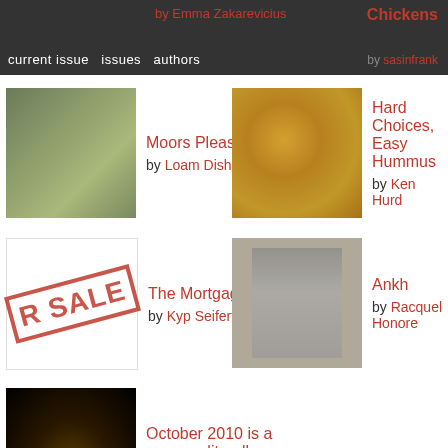by Emma Zakarevicius | current issue | issues | authors | Chickens by sasinfrank
Moors Please by Loam Disher
Hard Choices, Easy Hummus by Ken Hurd
The Mortgage Man by Kyp Seiferth
Ankh by Racquel Honore
October 2010 is a scream, literally by Janine Waldron
recent comments
james cook thank you stephen! i didnt know what to expect when i arrived and i...
laying low in a border town: tijuana · 8 years ago
browse fire b
issue
author
date